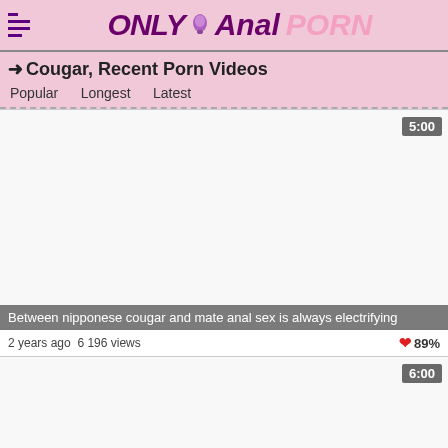Only Anal Porn
➜Cougar, Recent Porn Videos
Popular  Longest  Latest
[Figure (screenshot): Video thumbnail placeholder, white/light background, duration badge 5:00 in top right]
Between nipponese cougar and mate anal sex is always electrifying
2 years ago  6 196 views  ❤ 89%
[Figure (screenshot): Video thumbnail placeholder, white/light background, duration badge 6:00 in top right]